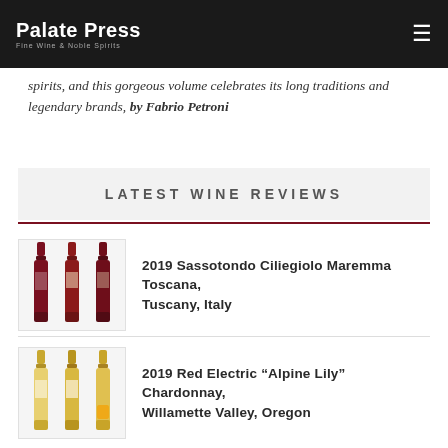Palate Press — Fine Wine & Noble Spirits
spirits, and this gorgeous volume celebrates its long traditions and legendary brands, by Fabrio Petroni
LATEST WINE REVIEWS
2019 Sassotondo Ciliegiolo Maremma Toscana, Tuscany, Italy
2019 Red Electric “Alpine Lily” Chardonnay, Willamette Valley, Oregon